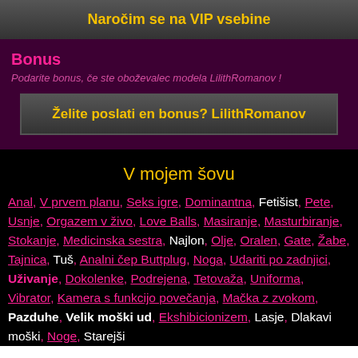Naročim se na VIP vsebine
Bonus
Podarite bonus, če ste oboževalec modela LilithRomanov !
Želite poslati en bonus? LilithRomanov
V mojem šovu
Anal, V prvem planu, Seks igre, Dominantna, Fetišist, Pete, Usnje, Orgazem v živo, Love Balls, Masiranje, Masturbiranje, Stokanje, Medicinska sestra, Najlon, Olje, Oralen, Gate, Žabe, Tajnica, Tuš, Analni čep Buttplug, Noga, Udariti po zadnjici, Uživanje, Dokolenke, Podrejena, Tetovaža, Uniforma, Vibrator, Kamera s funkcijo povečanja, Mačka z zvokom, Pazduhe, Velik moški ud, Ekshibicionizem, Lasje, Dlakavi moški, Noge, Starejši